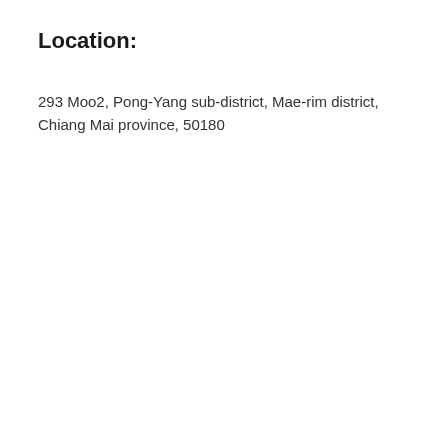Location:
293 Moo2, Pong-Yang sub-district, Mae-rim district, Chiang Mai province, 50180